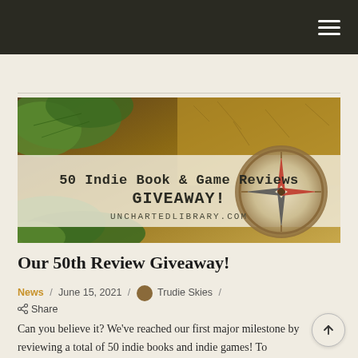Navigation bar with hamburger menu
[Figure (illustration): Banner image for '50 Indie Book & Game Reviews GIVEAWAY!' at unchartedlibrary.com, showing a vintage map background with a compass and greenery, semi-transparent white overlay with typewriter-style text]
Our 50th Review Giveaway!
News / June 15, 2021 / Trudie Skies / Share
Can you believe it? We've reached our first major milestone by reviewing a total of 50 indie books and indie games! To